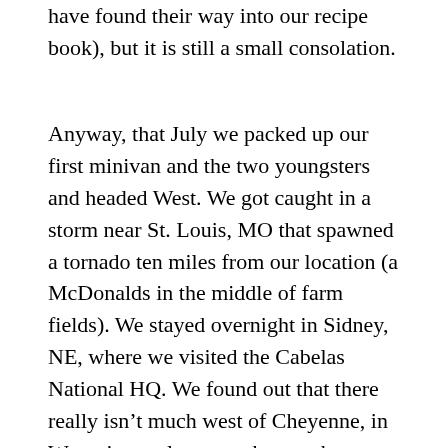have found their way into our recipe book), but it is still a small consolation.
Anyway, that July we packed up our first minivan and the two youngsters and headed West.  We got caught in a storm near St. Louis, MO that spawned a tornado ten miles from our location (a McDonalds in the middle of farm fields).  We stayed overnight in Sidney, NE, where we visited the Cabelas National HQ.  We found out that there really isn't much west of Cheyenne,  in Wyoming, at least not that can be seen from the interstate.  When we reached our Idaho destination, we found we were staying in the best Holiday Inn Express I had ever seen.  Believe me, it was worth five stars.  Ok, maybe four.  But it was great.  Newly built, everything